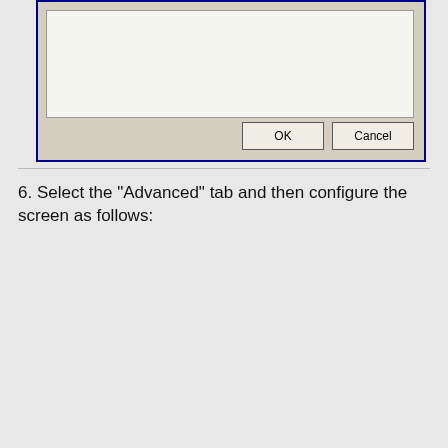[Figure (screenshot): Top portion of a Windows dialog box showing an empty content area with OK and Cancel buttons at the bottom, styled with a dark blue border and beige/tan background.]
6. Select the "Advanced" tab and then configure the screen as follows:
[Figure (screenshot): Internet E-mail Settings dialog window showing the Advanced tab selected. Contains Server Port Numbers section with Incoming server (POP3): 110, a checkbox for 'This server requires an encrypted connection (SSL)', Outgoing server (SMTP): 587, and a partially visible checkbox for 'This server requires an encrypted connection (SSL)'. A 'Use Defaults' button is also visible.]